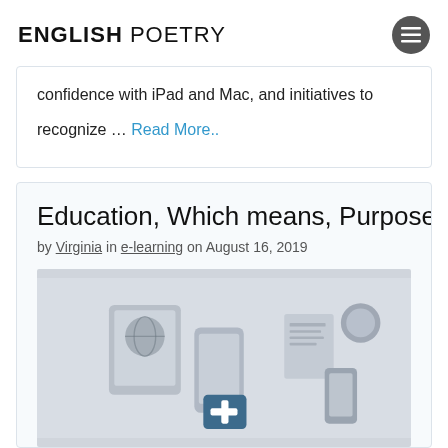ENGLISH POETRY
confidence with iPad and Mac, and initiatives to recognize … Read More..
Education, Which means, Purpose And Fu…
by Virginia in e-learning on August 16, 2019
[Figure (photo): Flat lay illustration of various educational and technology items including smartphones, tablets, documents, a first aid kit, and other objects arranged on a light background, rendered in grey tones.]